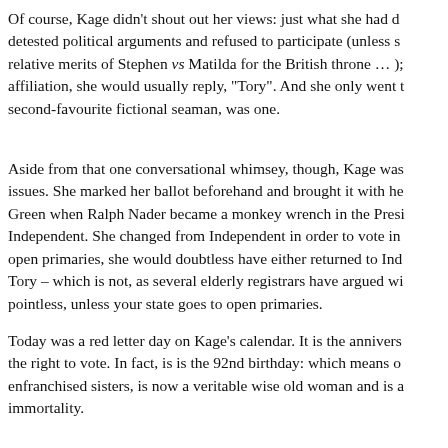Of course, Kage didn't shout out her views: just what she had d... detested political arguments and refused to participate (unless s... relative merits of Stephen vs Matilda for the British throne … ); affiliation, she would usually reply, "Tory". And she only went t... second-favourite fictional seaman, was one.
Aside from that one conversational whimsey, though, Kage was... issues. She marked her ballot beforehand and brought it with he... Green when Ralph Nader became a monkey wrench in the Presi... Independent. She changed from Independent in order to vote in... open primaries, she would doubtless have either returned to Ind... Tory – which is not, as several elderly registrars have argued wi... pointless, unless your state goes to open primaries.
Today was a red letter day on Kage's calendar. It is the annivers... the right to vote. In fact, is is the 92nd birthday: which means o... enfranchised sisters, is now a veritable wise old woman and is a... immortality.